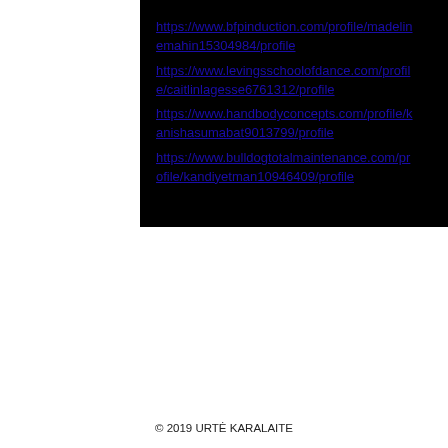https://www.bfpinduction.com/profile/madelinemahin15304984/profile https://www.levingsschoolofdance.com/profile/caitlinlagesse6761312/profile https://www.handbodyconcepts.com/profile/kanishasumabat9013799/profile https://www.bulldogtotalmaintenance.com/profile/kandiyetman10946409/profile
© 2019 URTĖ KARALAITE